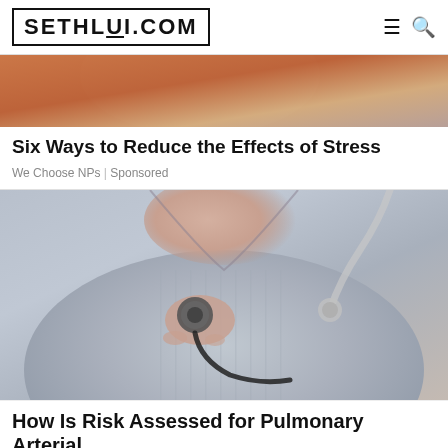SETHLUI.COM
[Figure (photo): Partial image of a person in orange clothing near a laptop, cropped to show only the upper portion]
Six Ways to Reduce the Effects of Stress
We Choose NPs | Sponsored
[Figure (photo): Close-up photo of a doctor using a stethoscope on a patient wearing a grey shirt, with another stethoscope visible on the right side]
How Is Risk Assessed for Pulmonary Arterial